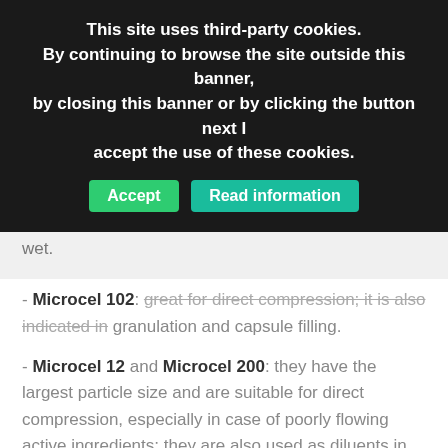This site uses third-party cookies. By continuing to browse the site outside this banner, by closing this banner or by clicking the button next I accept the use of these cookies. [Accept] [Read information]
wet.
- Microcel 102: great for direct compression; it is also indicated in granulation and capsule filling.
- Microcel 12 and Microcel 200: they have the largest particle size and are suitable for direct compression, especially in case of poorly flowing active ingredients; they are also used as diluents in the filling of capsules.